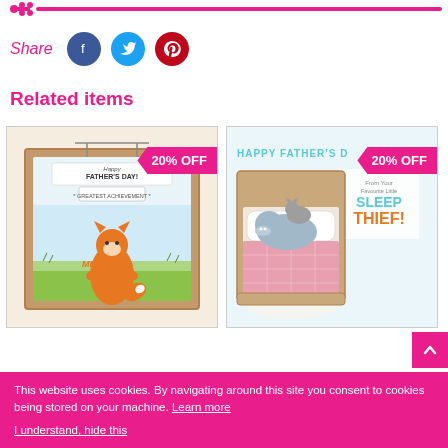[Figure (illustration): Pink horizontal line with bone icon on left — website header divider]
Share
[Figure (illustration): Social share buttons: Facebook (blue circle), Twitter (teal circle), Pinterest (red circle)]
Related items
[Figure (illustration): Father's Day card showing a fox standing in a picture frame labelled 'Happy Father's Day! From Your Greatest Achievement - ME!' with 20% OFF badge]
[Figure (illustration): Father's Day card showing animals in a bed with text 'Happy Father's Day From Your Favourite Little Sleep Thief!' with 20% OFF badge]
This website uses cookies. By navigating around this site you consent to cookies being stored on your machine. Learn more
I understand, hide this